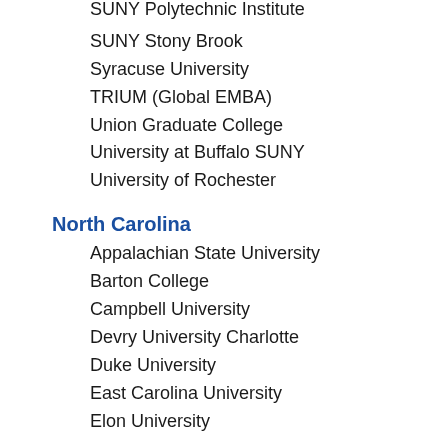SUNY Polytechnic Institute
SUNY Stony Brook
Syracuse University
TRIUM (Global EMBA)
Union Graduate College
University at Buffalo SUNY
University of Rochester
North Carolina
Appalachian State University
Barton College
Campbell University
Devry University Charlotte
Duke University
East Carolina University
Elon University